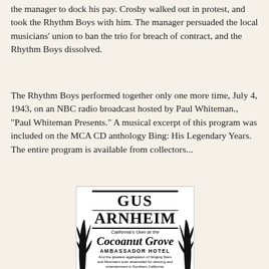the manager to dock his pay. Crosby walked out in protest, and took the Rhythm Boys with him. The manager persuaded the local musicians' union to ban the trio for breach of contract, and the Rhythm Boys dissolved.
The Rhythm Boys performed together only one more time, July 4, 1943, on an NBC radio broadcast hosted by Paul Whiteman., "Paul Whiteman Presents." A musical excerpt of this program was included on the MCA CD anthology Bing: His Legendary Years. The entire program is available from collectors...
[Figure (illustration): Advertisement for Gus Arnheim 'California's Own' at the Coconut Grove, Ambassador Hotel, featuring The Three Rhythm Boys (formerly with Paul Whiteman's Orchestra), Billy White (The Golden Voiced Tenor), Eddie Bush Trio. Nightly and Saturday performances. Art deco style poster with palm tree decorations.]